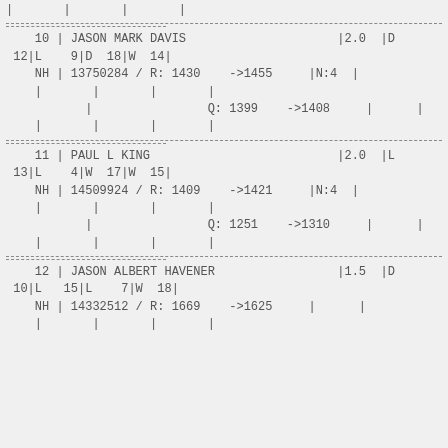| | | |
10 | JASON MARK DAVIS |2.0 |D 12|L 9|D 18|W 14|
   NH | 13750284 / R: 1430  ->1455    |N:4 |
   |       |       |
          |            Q: 1399  ->1408    |     |
   |       |       |
11 | PAUL L KING |2.0 |L 13|L 4|W 17|W 15|
   NH | 14509924 / R: 1409  ->1421    |N:4 |
   |       |       |
          |            Q: 1251  ->1310    |     |
   |       |       |
12 | JASON ALBERT HAVENER |1.5 |D 10|L 15|L 7|W 18|
   NH | 14332512 / R: 1669  ->1625    |     |
   |       |       |